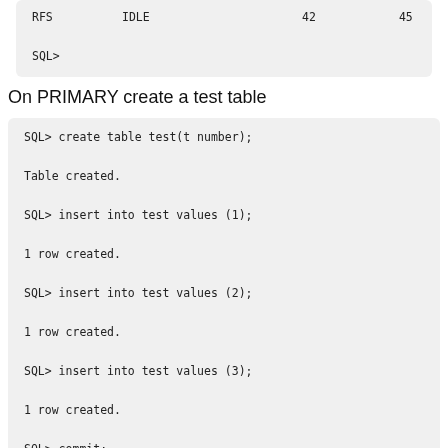RFS    IDLE    42    45

SQL>
On PRIMARY create a test table
SQL> create table test(t number);

Table created.

SQL> insert into test values (1);

1 row created.

SQL> insert into test values (2);

1 row created.

SQL> insert into test values (3);

1 row created.

SQL> commit;